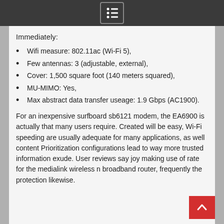Immediately:
Wifi measure: 802.11ac (Wi-Fi 5),
Few antennas: 3 (adjustable, external),
Cover: 1,500 square foot (140 meters squared),
MU-MIMO: Yes,
Max abstract data transfer useage: 1.9 Gbps (AC1900).
For an inexpensive surfboard sb6121 modem, the EA6900 is actually that many users require. Created will be easy, Wi-Fi speeding are usually adequate for many applications, as well content Prioritization configurations lead to way more trusted information exude. User reviews say joy making use of rate for the medialink wireless n broadband router, frequently the protection likewise.